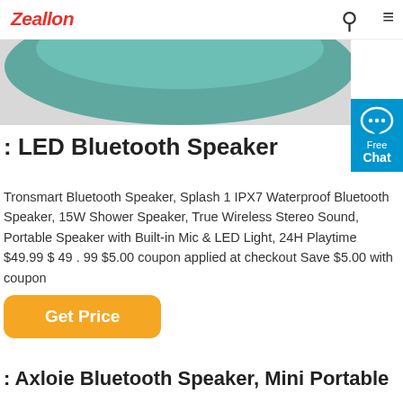Zeallon
[Figure (photo): Partial view of a teal/green Bluetooth speaker product image cropped at top]
[Figure (infographic): Blue chat widget with speech bubble icon, Free Chat label]
: LED Bluetooth Speaker
Tronsmart Bluetooth Speaker, Splash 1 IPX7 Waterproof Bluetooth Speaker, 15W Shower Speaker, True Wireless Stereo Sound, Portable Speaker with Built-in Mic & LED Light, 24H Playtime $49.99 $ 49 . 99 $5.00 coupon applied at checkout Save $5.00 with coupon
Get Price
: Axloie Bluetooth Speaker, Mini Portable